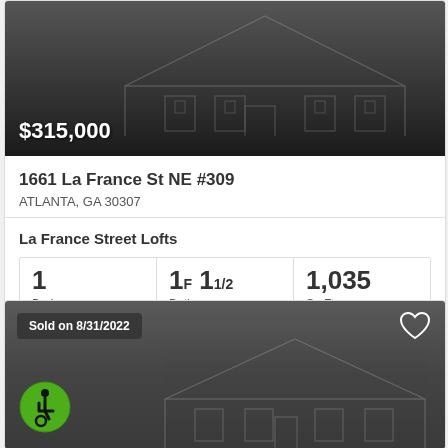[Figure (illustration): Dark background with house sketch illustration and $315,000 price overlay]
$315,000
1661 La France St NE #309
ATLANTA, GA 30307
La France Street Lofts
1 Beds  1F 1 1/2 Baths  1,035 Sq.Ft.
FMLS  Atlanta Communities
[Figure (illustration): Dark background with house sketch, sold badge showing 8/31/2022, heart icon, and wheelchair accessibility icon]